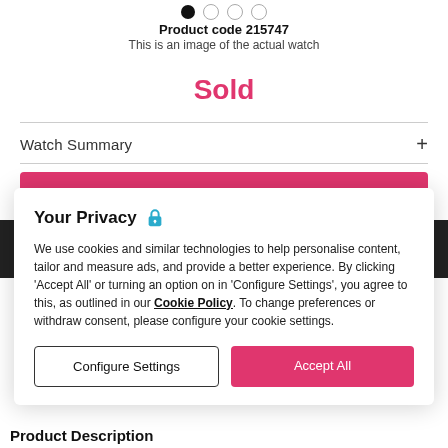[Figure (screenshot): Dot navigation indicators at top of page, showing one filled black dot and three outlined grey dots]
Product code 215747
This is an image of the actual watch
Sold
Watch Summary
[Figure (screenshot): Pink 'Find This Watch' button bar partially visible behind privacy modal]
Your Privacy
We use cookies and similar technologies to help personalise content, tailor and measure ads, and provide a better experience. By clicking 'Accept All' or turning an option on in 'Configure Settings', you agree to this, as outlined in our Cookie Policy. To change preferences or withdraw consent, please configure your cookie settings.
Configure Settings
Accept All
Product Description